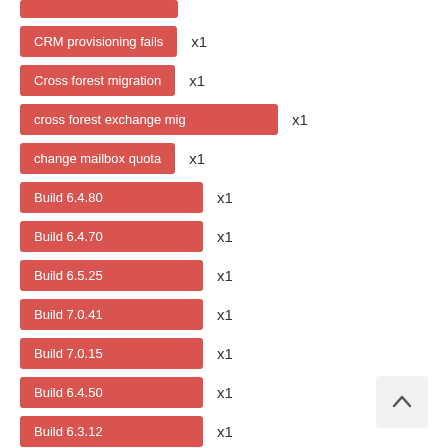[partial tag] x1
CRM provisioning fails x1
Cross forest migration x1
cross forest exchange mig x1
change mailbox quota x1
Build 6.4.80 x1
Build 6.4.70 x1
Build 6.5.25 x1
Build 7.0.41 x1
Build 7.0.15 x1
Build 6.4.50 x1
Build 6.3.12 x1
Build 6.0.25 x1